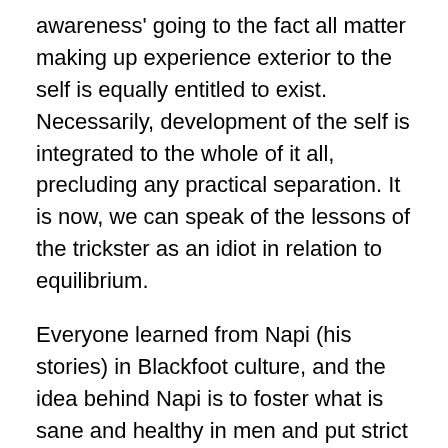awareness' going to the fact all matter making up experience exterior to the self is equally entitled to exist. Necessarily, development of the self is integrated to the whole of it all, precluding any practical separation. It is now, we can speak of the lessons of the trickster as an idiot in relation to equilibrium.
Everyone learned from Napi (his stories) in Blackfoot culture, and the idea behind Napi is to foster what is sane and healthy in men and put strict controls on what is not. It is that simple, the lessons were aimed at maintaining personal equilibrium within a system where all is balanced.
Follows, is an excellent example of a Blackfoot Napi (coyote) story (stolen from the Crees) illustrating the preceding. There were many stories of Napi holding philosophical conversations with his rectum, and this is